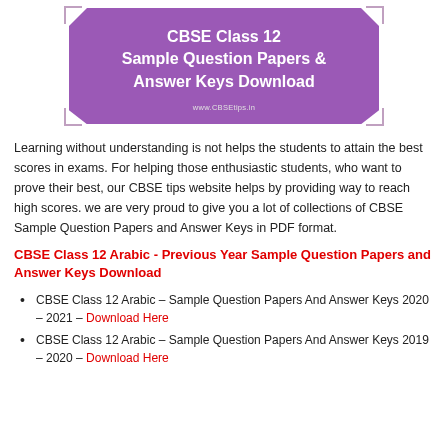[Figure (other): Purple hexagonal banner with white bold text reading 'CBSE Class 12 Sample Question Papers & Answer Keys Download' and watermark URL 'www.CBSEtips.in']
Learning without understanding is not helps the students to attain the best scores in exams. For helping those enthusiastic students, who want to prove their best, our CBSE tips website helps by providing way to reach high scores. we are very proud to give you a lot of collections of CBSE Sample Question Papers and Answer Keys in PDF format.
CBSE Class 12 Arabic - Previous Year Sample Question Papers and Answer Keys Download
CBSE Class 12 Arabic – Sample Question Papers And Answer Keys 2020 – 2021 – Download Here
CBSE Class 12 Arabic – Sample Question Papers And Answer Keys 2019 – 2020 – Download Here